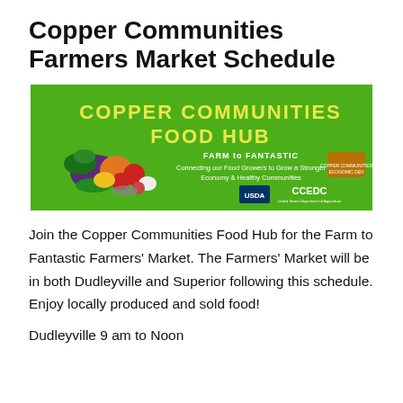Copper Communities Farmers Market Schedule
[Figure (illustration): Copper Communities Food Hub banner with green background, large yellow text reading COPPER COMMUNITIES FOOD HUB, tagline FARM to FANTASTIC, subtitle Connecting our Food Growers to Grow a Stronger Economy & Healthy Communities, vegetables photo on left, USDA and CCEDC logos on right]
Join the Copper Communities Food Hub for the Farm to Fantastic Farmers’ Market. The Farmers’ Market will be in both Dudleyville and Superior following this schedule. Enjoy locally produced and sold food!
Dudleyville 9 am to Noon